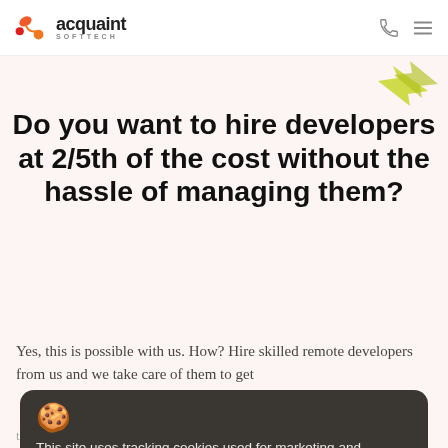[Figure (logo): Acquaint Softtech logo with orange/red connected dots icon and company name]
Do you want to hire developers at 2/5th of the cost without the hassle of managing them?
Yes, this is possible with us. How? Hire skilled remote developers from us and we take care of them to get
This site uses tracking cookies used for marketing and statistics. Privacy Policy
they are quick to get all our projects done quickly